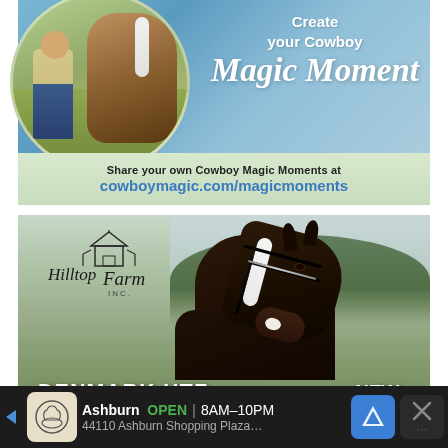[Figure (illustration): Cowboy Magic advertisement showing a person with a horse in a circular photo on the left, blue sky background on the right with text 'Create your Cowboy Magic Moment' in white, and a light green banner at the bottom with share URL]
Share your own Cowboy Magic Moments at
cowboymagic.com/magicmoments
[Figure (photo): Hilltop Farm Inc. advertisement featuring a dark bay horse portrait (Denmark HTF) with a white blaze, wearing a black halter with silver accents, set against a blurred green background. Logo for Hilltop Farm Inc. in upper left. Text at bottom reads 'DENMARK HTF' and 'NEW']
DENMARK HTF
NEW
Ashburn  OPEN  8AM–10PM  44110 Ashburn Shopping Plaza...